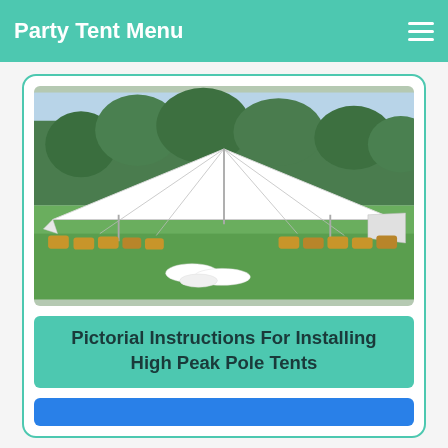Party Tent Menu
[Figure (photo): Outdoor white high peak pole tent set up on a lawn, surrounded by hay bales, with green trees in the background. White fabric pieces lie folded on the grass in the foreground.]
Pictorial Instructions For Installing High Peak Pole Tents